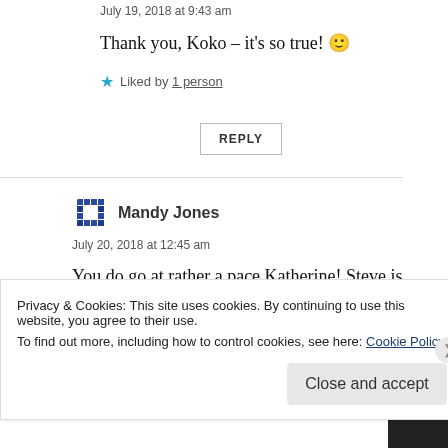July 19, 2018 at 9:43 am
Thank you, Koko – it's so true! 🙂
Liked by 1 person
REPLY
Mandy Jones
July 20, 2018 at 12:45 am
You do go at rather a pace Katherine! Steve is astounded at your output. We slow down as we get
Privacy & Cookies: This site uses cookies. By continuing to use this website, you agree to their use.
To find out more, including how to control cookies, see here: Cookie Policy
Close and accept